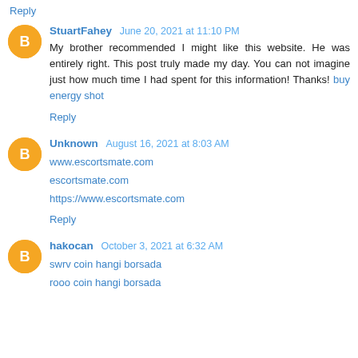Reply
StuartFahey June 20, 2021 at 11:10 PM
My brother recommended I might like this website. He was entirely right. This post truly made my day. You can not imagine just how much time I had spent for this information! Thanks! buy energy shot
Reply
Unknown August 16, 2021 at 8:03 AM
www.escortsmate.com
escortsmate.com
https://www.escortsmate.com
Reply
hakocan October 3, 2021 at 6:32 AM
swrv coin hangi borsada
rooo coin hangi borsada